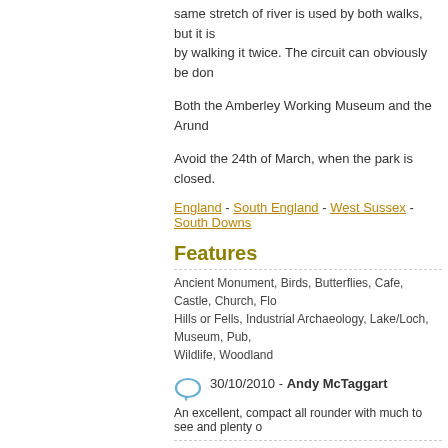same stretch of river is used by both walks, but it is by walking it twice. The circuit can obviously be don
Both the Amberley Working Museum and the Arund
Avoid the 24th of March, when the park is closed.
England - South England - West Sussex - South Downs
Features
Ancient Monument, Birds, Butterflies, Cafe, Castle, Church, Flo Hills or Fells, Industrial Archaeology, Lake/Loch, Museum, Pub, Wildlife, Woodland
30/10/2010 - Andy McTaggart
An excellent, compact all rounder with much to see and plenty o
Walkingworld members near this walk
Accommodation
Blossom's Cottage
Elsie's Shepherd's Hut
Self Contained self catering accommodation
Puttenham Barn Bunkhouse